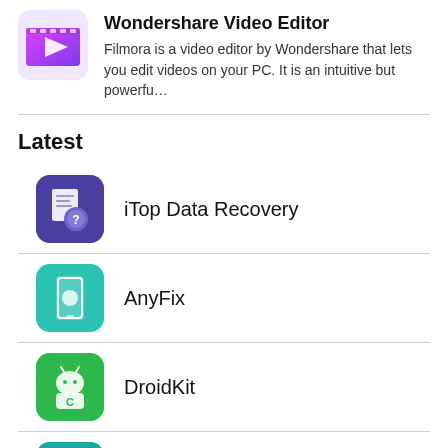Wondershare Video Editor — Filmora is a video editor by Wondershare that lets you edit videos on your PC. It is an intuitive but powerfu…
Latest
iTop Data Recovery
AnyFix
DroidKit
AnyUnlock
iCloud Data Recovery